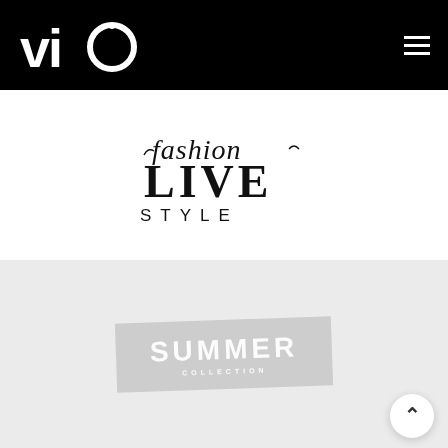[Figure (logo): VIO logo in white on black background — lowercase 'vio' with a red circular accent on the 'o']
[Figure (logo): Fashion LIVE STYLE logo — script 'fashion' text with decorative flourishes above bold serif LIVE and spaced sans-serif STYLE]
[Figure (logo): SUMMER badge/stamp graphic — white bold text 'SUMMER' with small subtext on a light grey banner rotated slightly, on a light grey background section]
Urban